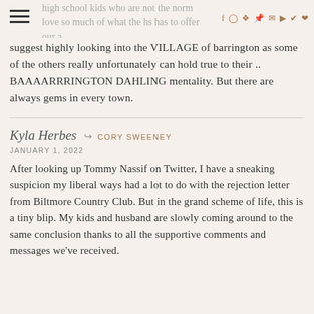high school kids who are not the norm love so much of what the hs has to offer our a… [social icons]
suggest highly looking into the VILLAGE of barrington as some of the others really unfortunately can hold true to their .. BAAAARRRINGTON DAHLING mentality. But there are always gems in every town.
Kyla Herbes → CORY SWEENEY
JANUARY 1, 2022
After looking up Tommy Nassif on Twitter, I have a sneaking suspicion my liberal ways had a lot to do with the rejection letter from Biltmore Country Club. But in the grand scheme of life, this is a tiny blip. My kids and husband are slowly coming around to the same conclusion thanks to all the supportive comments and messages we've received.